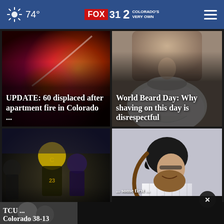74° FOX 31 2 Colorado's Very Own
[Figure (photo): Apartment fire with orange flames and smoke at night, news photo]
UPDATE: 60 displaced after apartment fire in Colorado ...
[Figure (photo): Close-up of man with large white beard for World Beard Day story]
World Beard Day: Why shaving on this day is disrespectful
[Figure (photo): Colorado Buffaloes football players in action during a game]
TCU ... Colorado 38-13
[Figure (photo): Baseball player with long hair and beard in pinstripe uniform smiling]
... some first ...